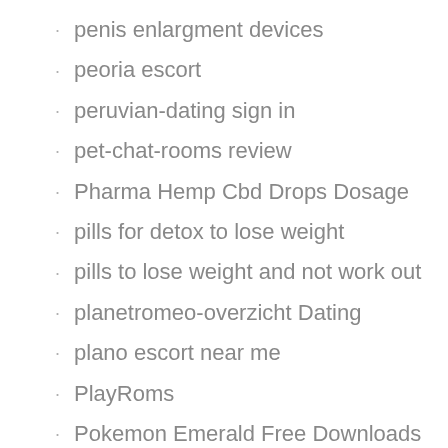penis enlargment devices
peoria escort
peruvian-dating sign in
pet-chat-rooms review
Pharma Hemp Cbd Drops Dosage
pills for detox to lose weight
pills to lose weight and not work out
planetromeo-overzicht Dating
plano escort near me
PlayRoms
Pokemon Emerald Free Downloads
police-chat-rooms review